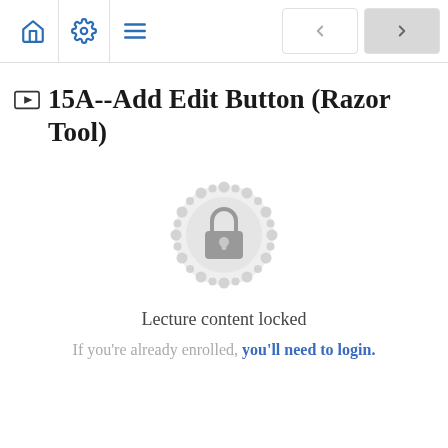Navigation bar with home, settings, menu icons and prev/next buttons
15A--Add Edit Button (Razor Tool)
[Figure (illustration): Lock icon inside a decorative mandala/gear badge, indicating locked content]
Lecture content locked
If you're already enrolled, you'll need to login.